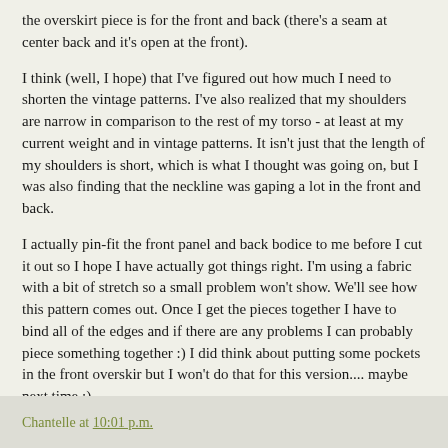the overskirt piece is for the front and back (there's a seam at center back and it's open at the front).
I think (well, I hope) that I've figured out how much I need to shorten the vintage patterns. I've also realized that my shoulders are narrow in comparison to the rest of my torso - at least at my current weight and in vintage patterns. It isn't just that the length of my shoulders is short, which is what I thought was going on, but I was also finding that the neckline was gaping a lot in the front and back.
I actually pin-fit the front panel and back bodice to me before I cut it out so I hope I have actually got things right. I'm using a fabric with a bit of stretch so a small problem won't show. We'll see how this pattern comes out. Once I get the pieces together I have to bind all of the edges and if there are any problems I can probably piece something together :) I did think about putting some pockets in the front overskir but I won't do that for this version.... maybe next time :)
Chantelle at 10:01 p.m.